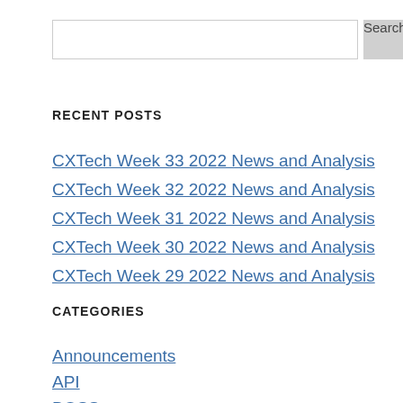[Search input box]
RECENT POSTS
CXTech Week 33 2022 News and Analysis
CXTech Week 32 2022 News and Analysis
CXTech Week 31 2022 News and Analysis
CXTech Week 30 2022 News and Analysis
CXTech Week 29 2022 News and Analysis
CATEGORIES
Announcements
API
BOSS
Broadband